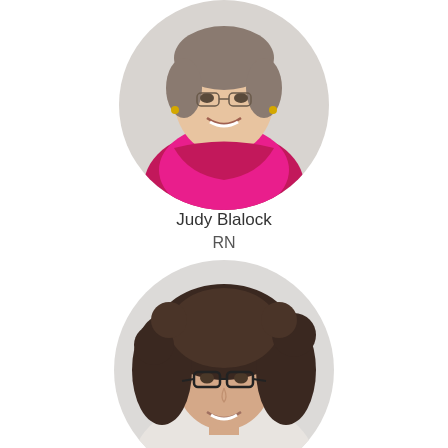[Figure (photo): Circular portrait photo of Judy Blalock, a woman wearing a pink/magenta floral top, smiling, against a light grey background.]
Judy Blalock
RN
[Figure (photo): Circular portrait photo of a woman with curly dark brown hair wearing black-rimmed glasses and a light top, smiling, against a light grey background.]